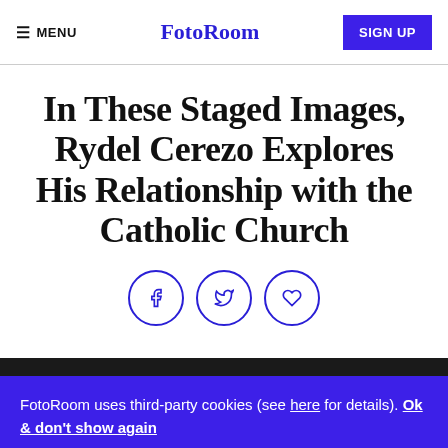≡ MENU   FotoRoom   SIGN UP
In These Staged Images, Rydel Cerezo Explores His Relationship with the Catholic Church
[Figure (infographic): Three circular social share buttons: Facebook (f), Twitter (bird), and Heart/like icon, all in blue outline circles]
FotoRoom uses third-party cookies (see here for details). Ok & don't show again